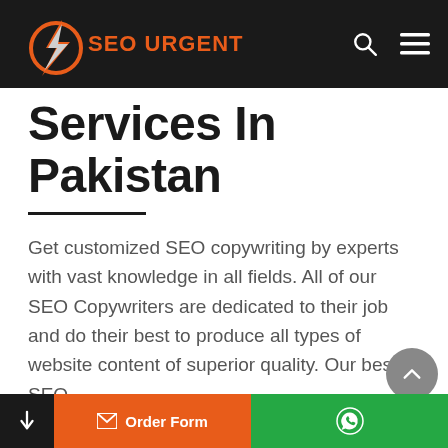SEO URGENT
Services In Pakistan
Get customized SEO copywriting by experts with vast knowledge in all fields. All of our SEO Copywriters are dedicated to their job and do their best to produce all types of website content of superior quality. Our best SEO
Order Form